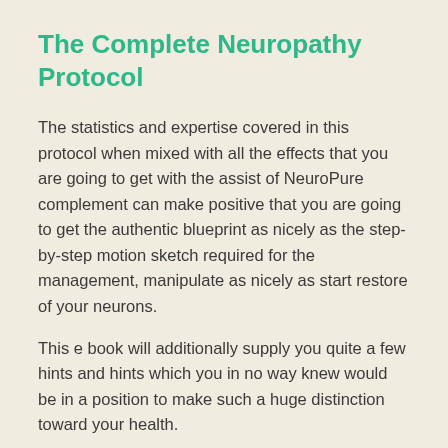The Complete Neuropathy Protocol
The statistics and expertise covered in this protocol when mixed with all the effects that you are going to get with the assist of NeuroPure complement can make positive that you are going to get the authentic blueprint as nicely as the step-by-step motion sketch required for the management, manipulate as nicely as start restore of your neurons.
This e book will additionally supply you quite a few hints and hints which you in no way knew would be in a position to make such a huge distinction toward your health.
Official NeuroPure Website: “The Stocks Are